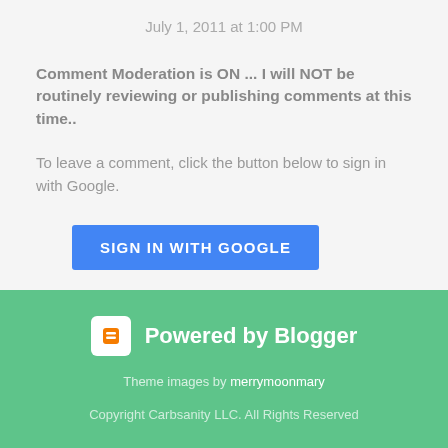July 1, 2011 at 1:00 PM
Comment Moderation is ON ... I will NOT be routinely reviewing or publishing comments at this time..
To leave a comment, click the button below to sign in with Google.
[Figure (other): SIGN IN WITH GOOGLE blue button]
[Figure (logo): Powered by Blogger logo with white B icon and text]
Theme images by merrymoonmary
Copyright Carbsanity LLC. All Rights Reserved